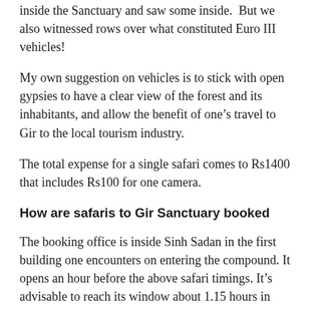inside the Sanctuary and saw some inside.  But we also witnessed rows over what constituted Euro III vehicles!
My own suggestion on vehicles is to stick with open gypsies to have a clear view of the forest and its inhabitants, and allow the benefit of one's travel to Gir to the local tourism industry.
The total expense for a single safari comes to Rs1400 that includes Rs100 for one camera.
How are safaris to Gir Sanctuary booked
The booking office is inside Sinh Sadan in the first building one encounters on entering the compound. It opens an hour before the above safari timings. It's advisable to reach its window about 1.15 hours in